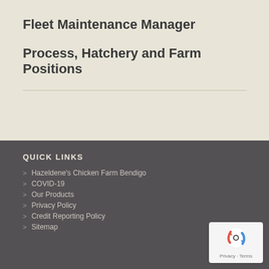Fleet Maintenance Manager
Process, Hatchery and Farm Positions
QUICK LINKS
Hazeldene's Chicken Farm Bendigo
COVID-19
Our Products
Privacy Policy
Credit Reporting Policy
Sitemap
[Figure (logo): Google reCAPTCHA logo with Privacy and Terms links]